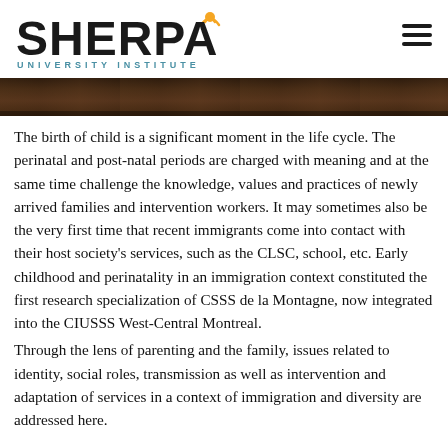[Figure (logo): SHERPA University Institute logo with orange beacon icon above the letter A and teal subtitle text reading UNIVERSITY INSTITUTE]
[Figure (photo): A dark horizontal image strip showing an indoor scene, partially cropped at the top of the content area]
The birth of child is a significant moment in the life cycle. The perinatal and post-natal periods are charged with meaning and at the same time challenge the knowledge, values and practices of newly arrived families and intervention workers. It may sometimes also be the very first time that recent immigrants come into contact with their host society's services, such as the CLSC, school, etc. Early childhood and perinatality in an immigration context constituted the first research specialization of CSSS de la Montagne, now integrated into the CIUSSS West-Central Montreal.
Through the lens of parenting and the family, issues related to identity, social roles, transmission as well as intervention and adaptation of services in a context of immigration and diversity are addressed here.